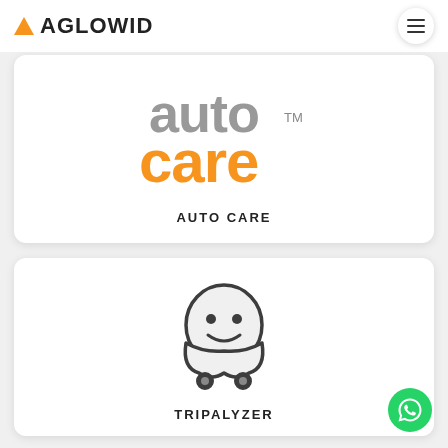[Figure (logo): Aglowid logo with orange triangle and bold AGLOWID text]
[Figure (logo): Auto Care logo with stylized gray and orange text saying auto care with TM mark]
AUTO CARE
[Figure (logo): Tripalyzer Waze-style ghost mascot icon with smiley face and wheels]
TRIPALYZER
[Figure (logo): WhatsApp green circular button icon in bottom right corner]